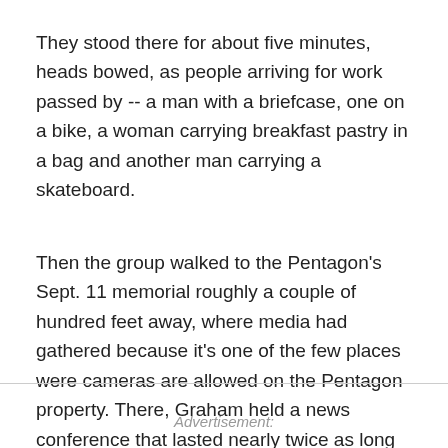They stood there for about five minutes, heads bowed, as people arriving for work passed by -- a man with a briefcase, one on a bike, a woman carrying breakfast pastry in a bag and another man carrying a skateboard.
Then the group walked to the Pentagon's Sept. 11 memorial roughly a couple of hundred feet away, where media had gathered because it's one of the few places were cameras are allowed on the Pentagon property. There, Graham held a news conference that lasted nearly twice as long as the prayer.
Advertisement: